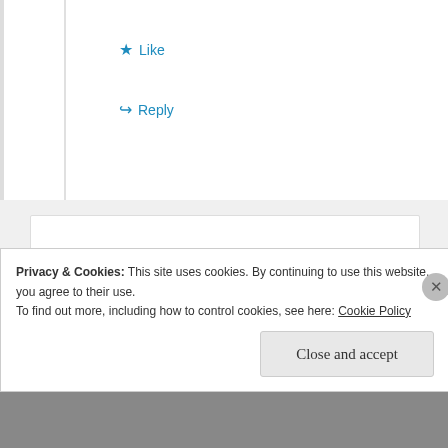★ Like
↪ Reply
Fran Crespo
February 6, 2012 at 9:11 am
I don't care why! When will it be on the shelves again? Date please.
Nothing else works like Excedrin.
Privacy & Cookies: This site uses cookies. By continuing to use this website, you agree to their use.
To find out more, including how to control cookies, see here: Cookie Policy
Close and accept